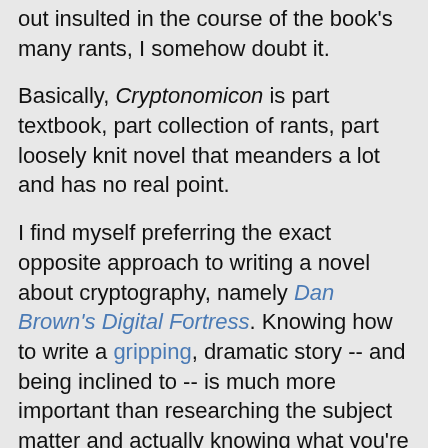out insulted in the course of the book's many rants, I somehow doubt it.

Basically, Cryptonomicon is part textbook, part collection of rants, part loosely knit novel that meanders a lot and has no real point.

I find myself preferring the exact opposite approach to writing a novel about cryptography, namely Dan Brown's Digital Fortress. Knowing how to write a gripping, dramatic story -- and being inclined to -- is much more important than researching the subject matter and actually knowing what you're talking about. Cryptonomicon is well researched but unnecessarily long